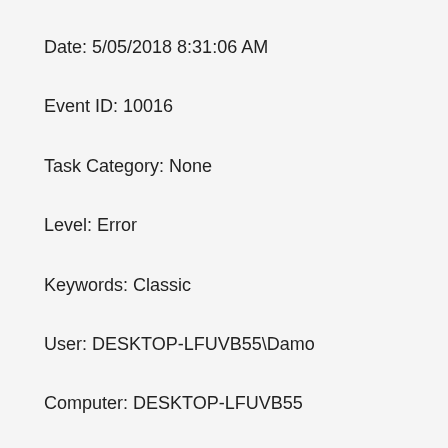Date: 5/05/2018 8:31:06 AM
Event ID: 10016
Task Category: None
Level: Error
Keywords: Classic
User: DESKTOP-LFUVB55\Damo
Computer: DESKTOP-LFUVB55
Description: